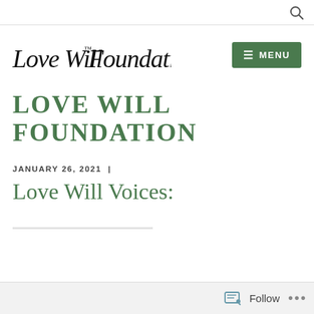Love Will Foundation — search icon
[Figure (logo): Love Will Foundation handwritten script logo]
LOVE WILL FOUNDATION
JANUARY 26, 2021 |
Love Will Voices:
Follow ...